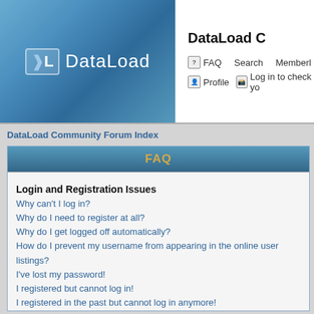[Figure (logo): DataLoad logo with DL icon and blue background]
DataLoad C
FAQ  Search  Memberl
Profile  Log in to check yo
DataLoad Community Forum Index
FAQ
Login and Registration Issues
Why can't I log in?
Why do I need to register at all?
Why do I get logged off automatically?
How do I prevent my username from appearing in the online user listings?
I've lost my password!
I registered but cannot log in!
I registered in the past but cannot log in anymore!
User Preferences and settings
How do I change my settings?
The times are not correct!
I changed the timezone and the time is still wrong!
My language is not in the list!
How do I show an image below my username?
How do I change my rank?
When I click the email link for a user it asks me to log in.